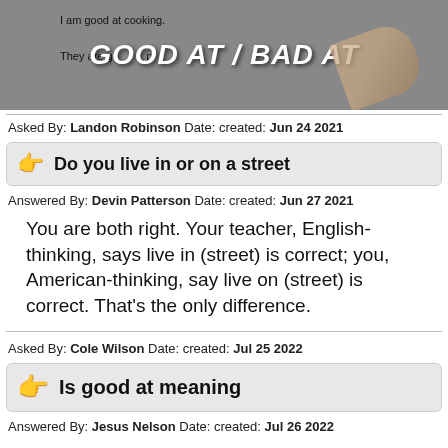[Figure (screenshot): Thumbnail image showing a worksheet about 'good at / bad at' with a hand holding a pencil. White text overlay reads 'GOOD AT / BAD AT'.]
Asked By: Landon Robinson Date: created: Jun 24 2021
Do you live in or on a street
Answered By: Devin Patterson Date: created: Jun 27 2021
You are both right. Your teacher, English-thinking, says live in (street) is correct; you, American-thinking, say live on (street) is correct. That's the only difference.
Asked By: Cole Wilson Date: created: Jul 25 2022
Is good at meaning
Answered By: Jesus Nelson Date: created: Jul 26 2022